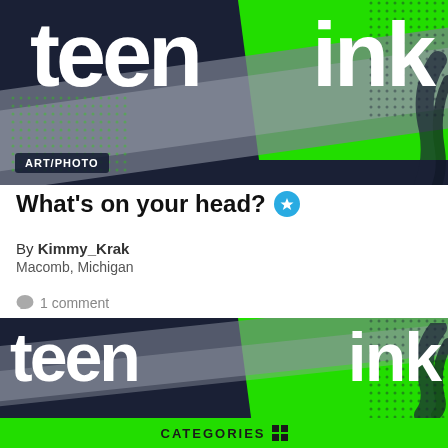[Figure (logo): Teen Ink logo banner - dark navy background with large white 'teen' text on left, bright green panel on right with white 'ink' text. Art/Photo badge at bottom left. Diagonal gray brush strokes across the banner.]
What's on your head?
By Kimmy_Krak
Macomb, Michigan
1 comment
[Figure (logo): Teen Ink logo banner repeated - same design with dark navy background, white 'teen' text, bright green panel with white 'ink' text, diagonal gray brush strokes.]
CATEGORIES